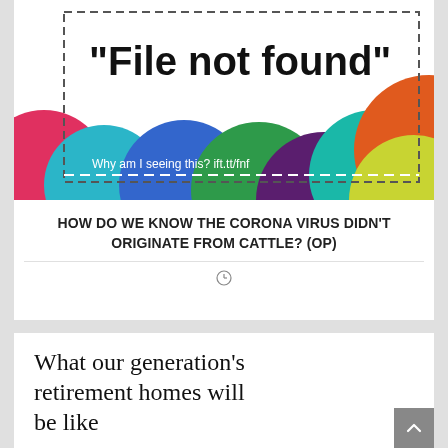[Figure (screenshot): A 'File not found' error image with colorful overlapping circles at the bottom and a dashed border outline. Text overlay reads 'Why am I seeing this? ift.tt/fnf']
HOW DO WE KNOW THE CORONA VIRUS DIDN'T ORIGINATE FROM CATTLE? (OP)
What our generation's retirement homes will be like